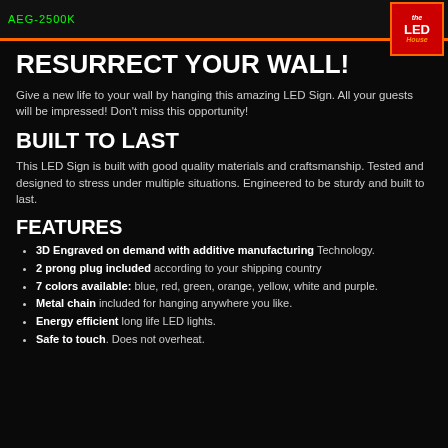AEG-2500K
[Figure (logo): The LED House logo — red background with orange border, text 'the LED house']
RESURRECT YOUR WALL!
Give a new life to your wall by hanging this amazing LED Sign. All your guests will be impressed! Don't miss this opportunity!
BUILT TO LAST
This LED Sign is built with good quality materials and craftsmanship. Tested and designed to stress under multiple situations. Engineered to be sturdy and built to last.
FEATURES
3D Engraved on demand with additive manufacturing Technology.
2 prong plug included according to your shipping country
7 colors available: blue, red, green, orange, yellow, white and purple.
Metal chain included for hanging anywhere you like.
Energy efficient long life LED lights.
Safe to touch. Does not overheat.